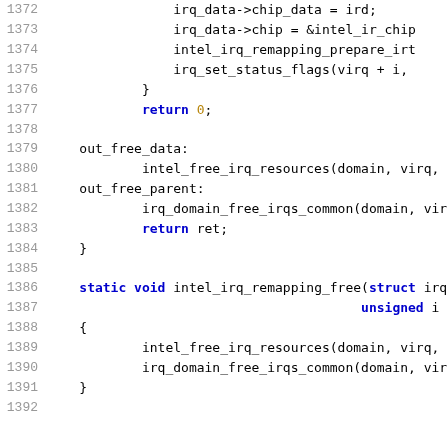Source code listing lines 1372-1392 showing C kernel IRQ remapping functions